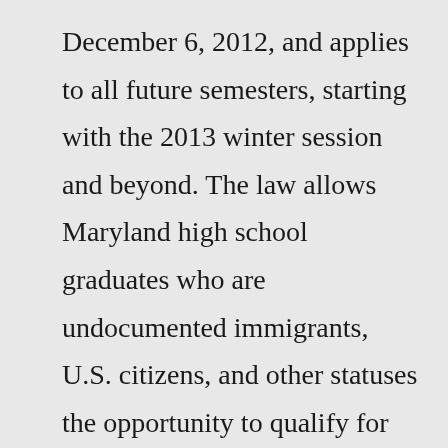December 6, 2012, and applies to all future semesters, starting with the 2013 winter session and beyond. The law allows Maryland high school graduates who are undocumented immigrants, U.S. citizens, and other statuses the opportunity to qualify for the lowest tuition rates at their public colleges and ... Put simply, the DREAM Act is a proposed bill that, if enacted, would afford certain illegal immigrants an easier